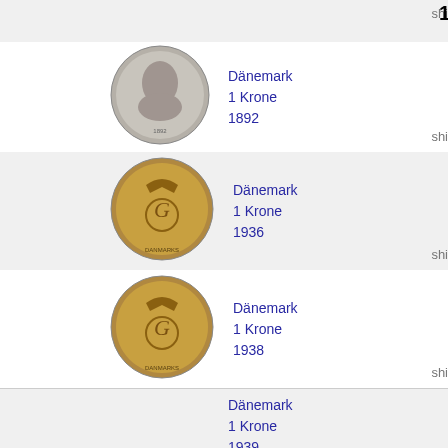[Figure (photo): Partial coin image at top, shaded row with 'shi' text and number 1 visible]
[Figure (photo): Danish 1 Krone 1892 coin showing portrait on obverse]
Dänemark
1 Krone
1892
[Figure (photo): Danish 1 Krone 1936 coin showing crowned royal cypher]
Dänemark
1 Krone
1936
[Figure (photo): Danish 1 Krone 1938 coin showing crowned royal cypher]
Dänemark
1 Krone
1938
Dänemark
1 Krone
1939